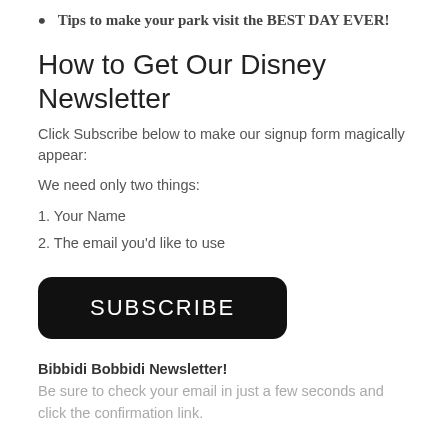Tips to make your park visit the BEST DAY EVER!
How to Get Our Disney Newsletter
Click Subscribe below to make our signup form magically appear:
We need only two things:
1. Your Name
2. The email you’d like to use
[Figure (other): Black rounded rectangle button with white text reading SUBSCRIBE]
Bibbidi Bobbidi Newsletter!
Be sure to check your email in just a few seconds and click the confirmation link.